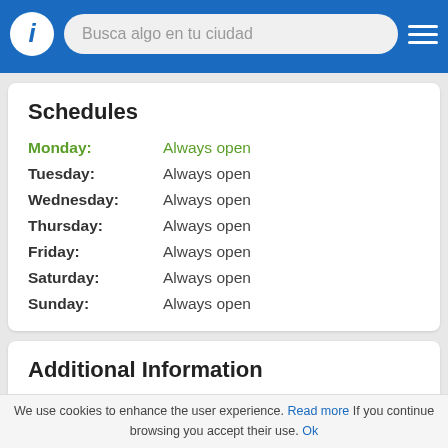Busca algo en tu ciudad
Schedules
| Day | Hours |
| --- | --- |
| Monday: | Always open |
| Tuesday: | Always open |
| Wednesday: | Always open |
| Thursday: | Always open |
| Friday: | Always open |
| Saturday: | Always open |
| Sunday: | Always open |
Additional Information
Payment Methods: Cash, Check
We use cookies to enhance the user experience. Read more If you continue browsing you accept their use. Ok